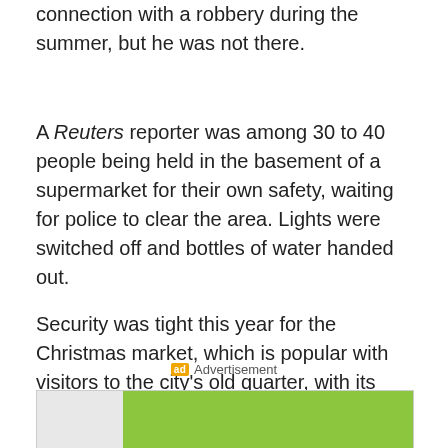connection with a robbery during the summer, but he was not there.
A Reuters reporter was among 30 to 40 people being held in the basement of a supermarket for their own safety, waiting for police to clear the area. Lights were switched off and bottles of water handed out.
Security was tight this year for the Christmas market, which is popular with visitors to the city's old quarter, with its Gothic cathedral and half-timbered houses.
[Figure (other): Advertisement banner with green background, gray area, blue strip at bottom, and scattered dots]